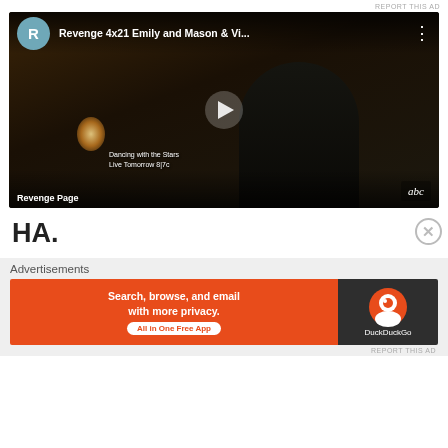REPORT THIS AD
[Figure (screenshot): YouTube-style video thumbnail showing a woman on a phone call in a dimly lit room, with video title 'Revenge 4x21 Emily and Mason & Vi...' and an R avatar icon, play button overlay, 'Revenge Page' and 'Dancing with the Stars Live Tomorrow 8|7c' text, and ABC logo]
HA.
Advertisements
[Figure (screenshot): DuckDuckGo advertisement banner: orange left panel with text 'Search, browse, and email with more privacy. All in One Free App' and dark right panel with DuckDuckGo logo]
REPORT THIS AD